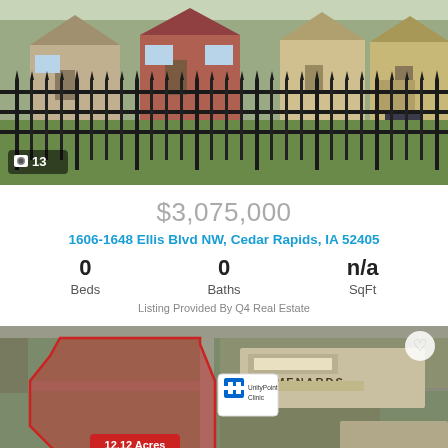[Figure (photo): Exterior photo of residential townhomes behind a black iron fence with green lawn, camera icon and count '13' overlay in bottom-left]
$3,075,000
1606-1648 Ellis Blvd NW, Cedar Rapids, IA 52405
| Beds | Baths | SqFt |
| --- | --- | --- |
| 0 | 0 | n/a |
Listing Provided By Q4 Real Estate
[Figure (map): Aerial satellite map showing a 12.12 Acres red-highlighted parcel near Menards and Kohl's stores in Cedar Rapids, IA, with a UnityPoint Clinic marker and heart/favorite button]